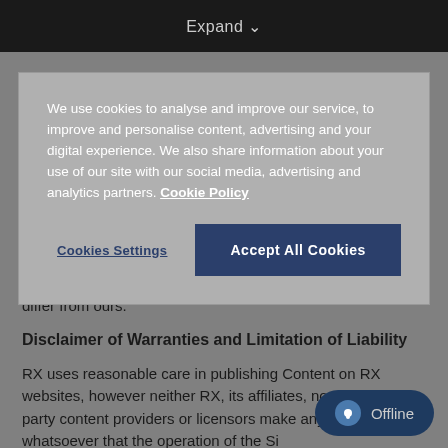Expand
We use cookies to analyse and improve our service, to improve and personalise content, advertising and your digital experience. We also share information about your use of our site with our social media, advertising and analytics partners. Cookie Policy
Cookies Settings
Accept All Cookies
differ from ours.
Disclaimer of Warranties and Limitation of Liability
RX uses reasonable care in publishing Content on RX websites, however neither RX, its affiliates, nor any third-party content providers or licensors make any warranty whatsoever that the operation of the Si... uninterrupted or error-free, that defects will be corrected,